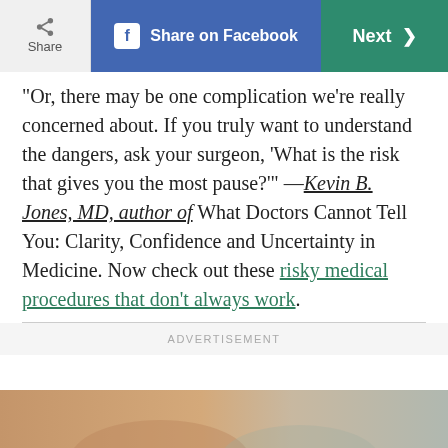Share | Share on Facebook | Next
“Or, there may be one complication we’re really concerned about. If you truly want to understand the dangers, ask your surgeon, ‘What is the risk that gives you the most pause?’” —Kevin B. Jones, MD, author of What Doctors Cannot Tell You: Clarity, Confidence and Uncertainty in Medicine. Now check out these risky medical procedures that don’t always work.
[Figure (photo): Close-up photo of a person's face, partially visible at the bottom of the page.]